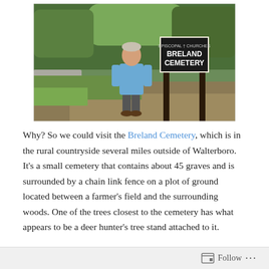[Figure (photo): A man in a blue t-shirt and shorts standing next to a sign reading 'BRELAND CEMETERY' mounted on two dark wooden posts. There is a road, grassy area, and trees in the background.]
Why? So we could visit the Breland Cemetery, which is in the rural countryside several miles outside of Walterboro. It's a small cemetery that contains about 45 graves and is surrounded by a chain link fence on a plot of ground located between a farmer's field and the surrounding woods. One of the trees closest to the cemetery has what appears to be a deer hunter's tree stand attached to it.
Follow ...